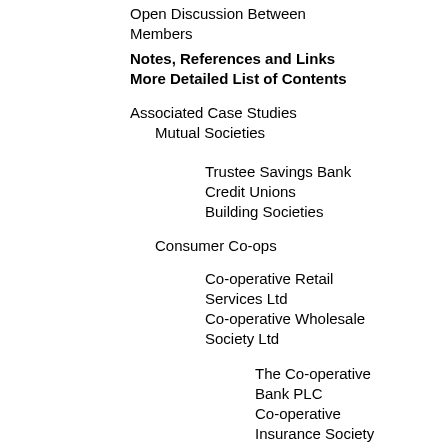Open Discussion Between Members
Notes, References and Links
More Detailed List of Contents
Associated Case Studies
Mutual Societies
Trustee Savings Bank
Credit Unions
Building Societies
Consumer Co-ops
Co-operative Retail Services Ltd
Co-operative Wholesale Society Ltd
The Co-operative Bank PLC
Co-operative Insurance Society Ltd
Producer (Worker) Co-ops and